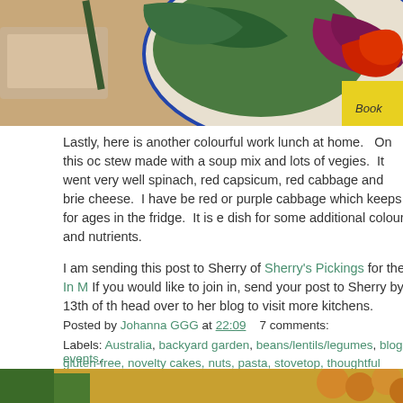[Figure (photo): Top portion of a photo showing a colourful salad bowl with mixed greens, red cabbage, red capsicum, on a wooden table with a book visible. Image is cropped.]
Lastly, here is another colourful work lunch at home.   On this oc stew made with a soup mix and lots of vegies.  It went very well spinach, red capsicum, red cabbage and brie cheese.  I have be red or purple cabbage which keeps for ages in the fridge.  It is e dish for some additional colour and nutrients.
I am sending this post to Sherry of Sherry's Pickings for the In M If you would like to join in, send your post to Sherry by 13th of th head over to her blog to visit more kitchens.
Posted by Johanna GGG at 22:09    7 comments:
Labels: Australia, backyard garden, beans/lentils/legumes, blog events, gluten-free, novelty cakes, nuts, pasta, stovetop, thoughtful giraffe, veg
WEDNESDAY, 5 MAY 2021
Caramilk ANZAC Biscuits - not for the traditionalists!
[Figure (photo): Bottom partial photo showing biscuits/cookies, cropped at bottom of page.]